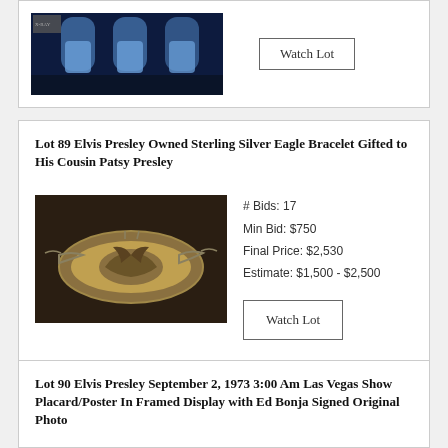[Figure (photo): X-ray image of knee joints, dark background with blue-tinted bone images]
Watch Lot
Lot 89 Elvis Presley Owned Sterling Silver Eagle Bracelet Gifted to His Cousin Patsy Presley
[Figure (photo): Photo of a sterling silver eagle bracelet with chain on dark background]
# Bids: 17
Min Bid: $750
Final Price: $2,530
Estimate: $1,500 - $2,500
Watch Lot
Lot 90 Elvis Presley September 2, 1973 3:00 Am Las Vegas Show Placard/Poster In Framed Display with Ed Bonja Signed Original Photo